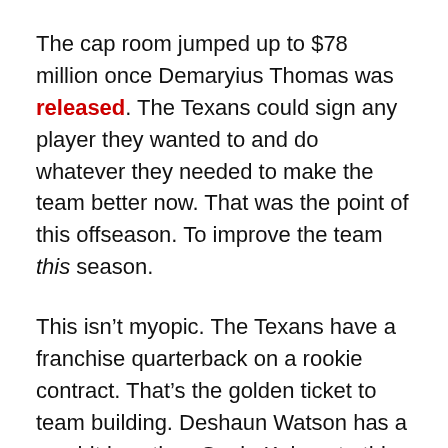The cap room jumped up to $78 million once Demaryius Thomas was released. The Texans could sign any player they wanted to and do whatever they needed to make the team better now. That was the point of this offseason. To improve the team this season.
This isn't myopic. The Texans have a franchise quarterback on a rookie contract. That's the golden ticket to team building. Deshaun Watson has a cap hit less than Senio Kelemete this season, just $3.7 million this season and $4.4 million next season. He should count around $20 million against the cap once his fifth year option is activated.
After that? Football may not exist, the Earth maybe cold and dead, and terrestrial wars to overthrow robot